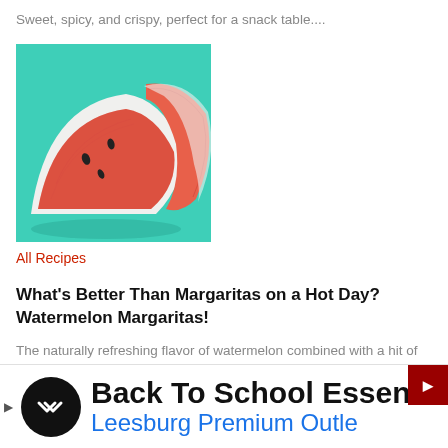Sweet, spicy, and crispy, perfect for a snack table....
[Figure (photo): Two triangular slices of watermelon on a teal/turquoise background]
All Recipes
What's Better Than Margaritas on a Hot Day? Watermelon Margaritas!
The naturally refreshing flavor of watermelon combined with a hit of tequila....
[Figure (infographic): Advertisement banner: Back To School Essentials - Leesburg Premium Outlets, with black circular logo featuring double arrow chevron icon]